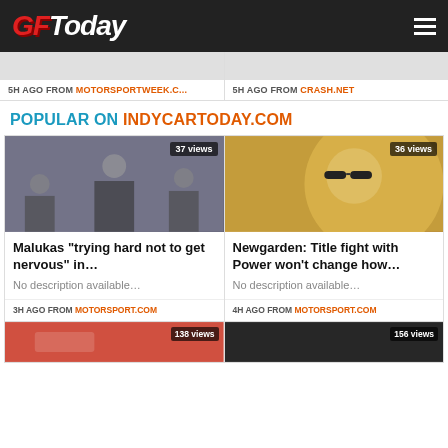GF Today
5H AGO FROM MOTORSPORTWEEK.C...
5H AGO FROM CRASH.NET
POPULAR ON INDYCARTODAY.COM
[Figure (photo): Podium celebration photo with trophy holders, 37 views badge]
Malukas “trying hard not to get nervous” in…
No description available…
3H AGO FROM MOTORSPORT.COM
[Figure (photo): Driver wearing sunglasses photo, 36 views badge]
Newgarden: Title fight with Power won’t change how…
No description available…
4H AGO FROM MOTORSPORT.COM
[Figure (photo): Race car photo, 138 views badge]
[Figure (photo): Race car dark photo, 156 views badge]